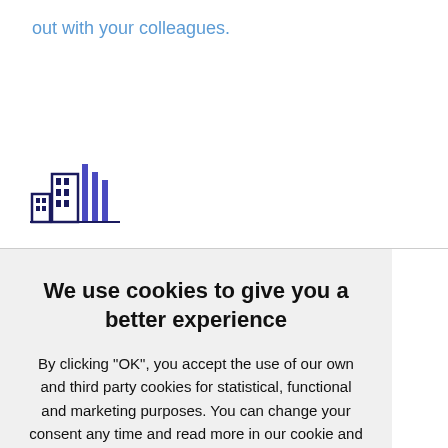out with your colleagues.
[Figure (logo): Building/city skyline logo icon in dark blue and blue colors]
We use cookies to give you a better experience
By clicking "OK", you accept the use of our own and third party cookies for statistical, functional and marketing purposes. You can change your consent any time and read more in our cookie and privacy policy
Only the necessary cookies
OK
SHOW DETAILS